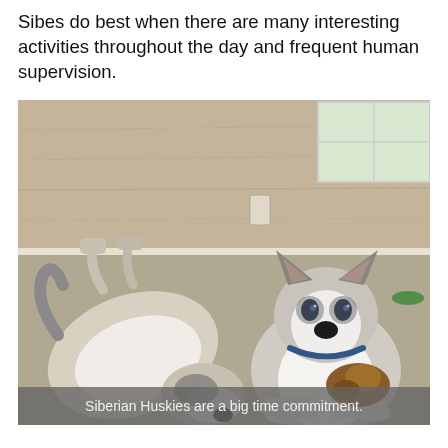Sibes do best when there are many interesting activities throughout the day and frequent human supervision.
[Figure (photo): Two Siberian Huskies playing on a carpeted floor in a room with toys scattered around. One husky is lying on its back, the other is lying down chewing a stuffed toy.]
Siberian Huskies are a big time commitment.